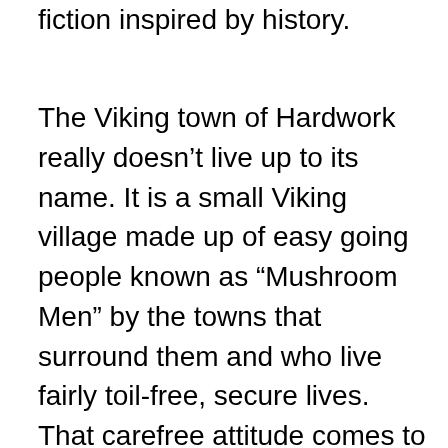Trilogy, which is another series of speculative fiction inspired by history.
The Viking town of Hardwork really doesn't live up to its name. It is a small Viking village made up of easy going people known as “Mushroom Men” by the towns that surround them and who live fairly toil-free, secure lives. That carefree attitude comes to a halt when the village is attacked and burned to the ground, all thanks to the Calnians and their prophecy that these Mushroom Men will bring about the end of the world. Led by the advice of a slow-witted boy who can see into the future, a small